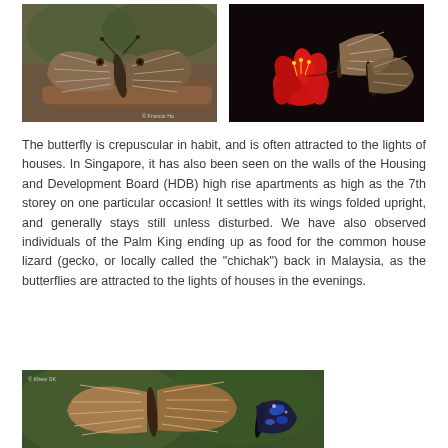[Figure (photo): Butterfly with brown and white striped wings resting on a surface, side view with wings folded upright. Watermark: © Francis Ho]
[Figure (photo): Butterfly with brown and white striped wings feeding on a red flower against a dark background.]
The butterfly is crepuscular in habit, and is often attracted to the lights of houses. In Singapore, it has also been seen on the walls of the Housing and Development Board (HDB) high rise apartments as high as the 7th storey on one particular occasion! It settles with its wings folded upright, and generally stays still unless disturbed. We have also observed individuals of the Palm King ending up as food for the common house lizard (gecko, or locally called the "chichak") back in Malaysia, as the butterflies are attracted to the lights of houses in the evenings.
[Figure (photo): Butterfly with brown and orange striped wings and a dark butterfly with blue markings, on a surface with green background. Watermark: © Khew SK]